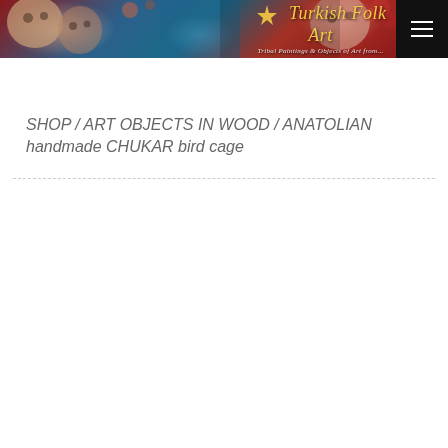[Figure (illustration): Turkish Folk Art website banner with colorful folk art paintings of faces and figures, logo icon, site title 'Turkish Folk Art' in italic gold text, subtitle 'Tribal Paintings & Objects of Art from...' with a dark menu/hamburger button on the right]
SHOP / ART OBJECTS IN WOOD / ANATOLIAN handmade CHUKAR bird cage